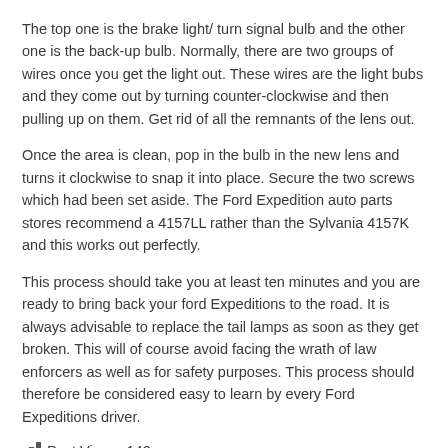The top one is the brake light/ turn signal bulb and the other one is the back-up bulb. Normally, there are two groups of wires once you get the light out. These wires are the light bubs and they come out by turning counter-clockwise and then pulling up on them. Get rid of all the remnants of the lens out.
Once the area is clean, pop in the bulb in the new lens and turns it clockwise to snap it into place. Secure the two screws which had been set aside. The Ford Expedition auto parts stores recommend a 4157LL rather than the Sylvania 4157K and this works out perfectly.
This process should take you at least ten minutes and you are ready to bring back your ford Expeditions to the road. It is always advisable to replace the tail lamps as soon as they get broken. This will of course avoid facing the wrath of law enforcers as well as for safety purposes. This process should therefore be considered easy to learn by every Ford Expeditions driver.
Post Views: 142
Posted in Auto   Tagged Expedition, FORD, Light, Replace, Tail